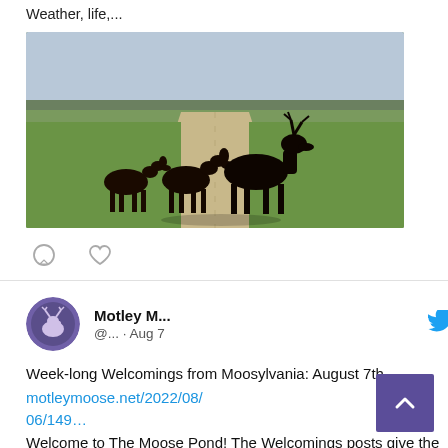Weather, life,...
[Figure (photo): Three moose (two calves and one adult) crossing a narrow dirt road through flat green fields under an overcast sky.]
[Figure (other): Comment and heart/like action icons below the tweet photo.]
Motley M... @... · Aug 7
Week-long Welcomings from Moosylvania: August 7th motleymoose.net/2022/08/06/149… Welcome to The Moose Pond! The Welcomings posts give the Moose, old and new, a place to visit and share news about the...